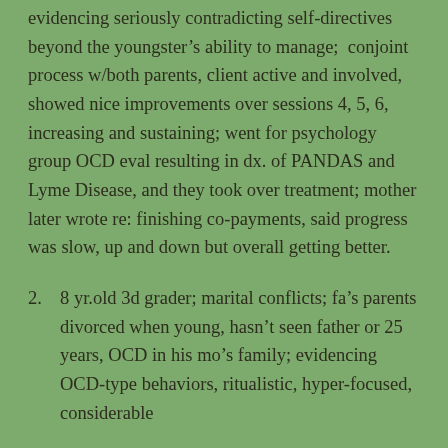evidencing seriously contradicting self-directives beyond the youngster's ability to manage;  conjoint process w/both parents, client active and involved, showed nice improvements over sessions 4, 5, 6, increasing and sustaining; went for psychology group OCD eval resulting in dx. of PANDAS and Lyme Disease, and they took over treatment; mother later wrote re: finishing co-payments, said progress was slow, up and down but overall getting better.
2.   8 yr.old 3d grader; marital conflicts; fa's parents divorced when young, hasn't seen father or 25 years, OCD in his mo's family; evidencing OCD-type behaviors, ritualistic, hyper-focused, considerable